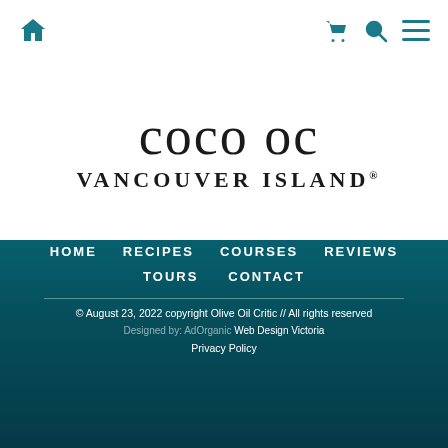Navigation header with home, cart, search, and menu icons
[Figure (logo): Cursive script logo text above 'VANCOUVER ISLAND' brand name in serif uppercase letters with registered trademark symbol]
HOME   RECIPES   COURSES   REVIEWS   TOURS   CONTACT
© August 23, 2022 copyright Olive Oil Critic // All rights reserved
Designed by: AdOrganic Web Design Victoria
Privacy Policy